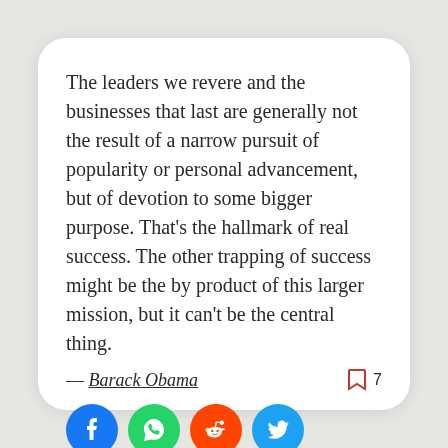The leaders we revere and the businesses that last are generally not the result of a narrow pursuit of popularity or personal advancement, but of devotion to some bigger purpose. That's the hallmark of real success. The other trapping of success might be the by product of this larger mission, but it can't be the central thing.
— Barack Obama  7
[Figure (infographic): Social share buttons: Facebook (blue circle), WhatsApp (green circle), Reddit (orange circle), Twitter (blue circle)]